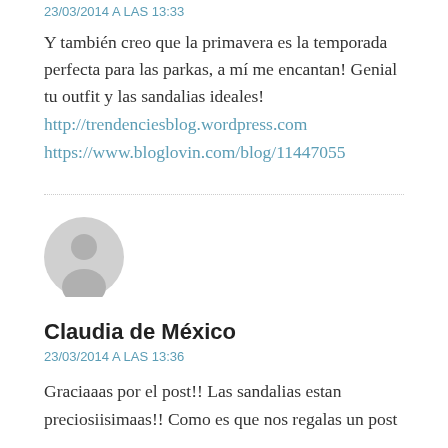23/03/2014 A LAS 13:33
Y también creo que la primavera es la temporada perfecta para las parkas, a mí me encantan! Genial tu outfit y las sandalias ideales!
http://trendenciesblog.wordpress.com
https://www.bloglovin.com/blog/11447055
[Figure (illustration): Gray circular avatar placeholder icon with a silhouette of a person]
Claudia de México
23/03/2014 A LAS 13:36
Graciaaas por el post!! Las sandalias estan preciosiisimaas!! Como es que nos regalas un post